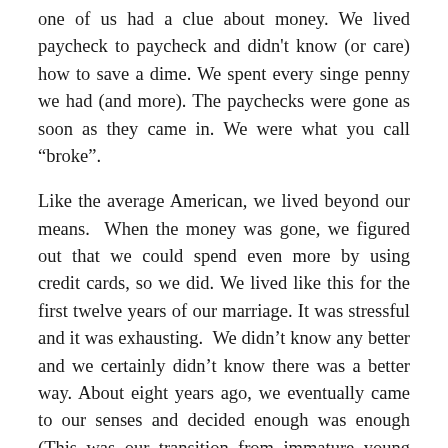one of us had a clue about money. We lived paycheck to paycheck and didn't know (or care) how to save a dime. We spent every singe penny we had (and more). The paychecks were gone as soon as they came in. We were what you call "broke".
Like the average American, we lived beyond our means.  When the money was gone, we figured out that we could spend even more by using credit cards, so we did. We lived like this for the first twelve years of our marriage. It was stressful and it was exhausting.  We didn't know any better and we certainly didn't know there was a better way. About eight years ago, we eventually came to our senses and decided enough was enough (This was our transition from immature young adults to grown ups). We could't live like this anymore and something had to be done to change this wreckless path we were on or our financial future